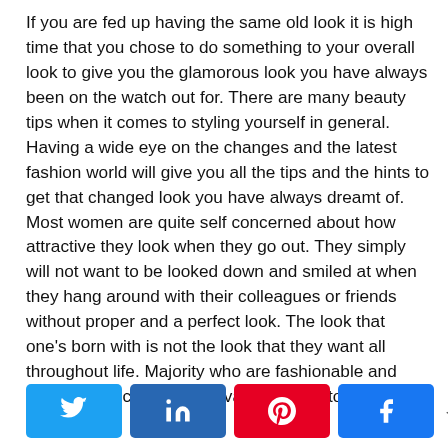If you are fed up having the same old look it is high time that you chose to do something to your overall look to give you the glamorous look you have always been on the watch out for. There are many beauty tips when it comes to styling yourself in general. Having a wide eye on the changes and the latest fashion world will give you all the tips and the hints to get that changed look you have always dreamt of. Most women are quite self concerned about how attractive they look when they go out. They simply will not want to be looked down and smiled at when they hang around with their colleagues or friends without proper and a perfect look. The look that one's born with is not the look that they want all throughout life. Majority who are fashionable and fashion conscious do find various ways to highlight their
[Figure (infographic): Social share bar with Twitter, LinkedIn, Pinterest, Facebook buttons and a share count showing 0 SHARES]